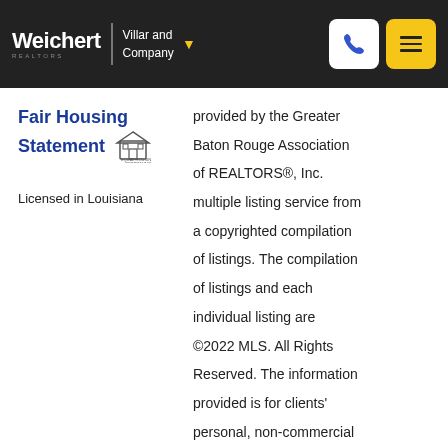Weichert | Villar and Company
Fair Housing Statement
Licensed in Louisiana
provided by the Greater Baton Rouge Association of REALTORS®, Inc. multiple listing service from a copyrighted compilation of listings. The compilation of listings and each individual listing are ©2022 MLS. All Rights Reserved. The information provided is for clients' personal, non-commercial use and may not be used for any purpose other than to identify prospective